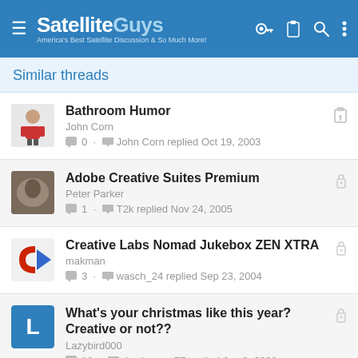SatelliteGuys — America's Best Satellite Discussion & So Much More!
Similar threads
Bathroom Humor — John Corn — 0 · John Corn replied Oct 19, 2003
Adobe Creative Suites Premium — Peter Parker — 1 · T2k replied Nov 24, 2005
Creative Labs Nomad Jukebox ZEN XTRA — makman — 3 · wasch_24 replied Sep 23, 2004
What's your christmas like this year? Creative or not?? — Lazybird000 — 10 · dantheman77 replied Jan 3, 2009